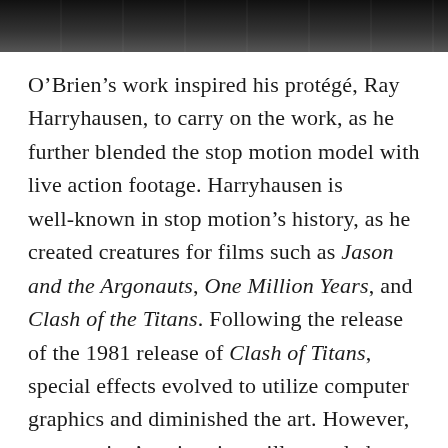[Figure (photo): Dark greyscale photograph strip at the top of the page, showing a dark background scene.]
O’Brien’s work inspired his protégé, Ray Harryhausen, to carry on the work, as he further blended the stop motion model with live action footage. Harryhausen is well-known in stop motion’s history, as he created creatures for films such as Jason and the Argonauts, One Million Years, and Clash of the Titans. Following the release of the 1981 release of Clash of Titans, special effects evolved to utilize computer graphics and diminished the art. However, stop motion’s animation still appealed to many artists, which led to its revival decades later thanks to the release of The Nightmare Before Christmas (1993).